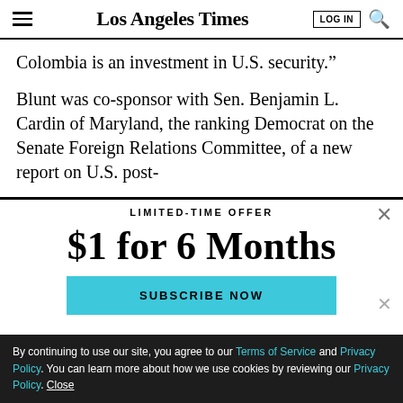Los Angeles Times
Colombia is an investment in U.S. security.”
Blunt was co-sponsor with Sen. Benjamin L. Cardin of Maryland, the ranking Democrat on the Senate Foreign Relations Committee, of a new report on U.S. post-
LIMITED-TIME OFFER
$1 for 6 Months
SUBSCRIBE NOW
By continuing to use our site, you agree to our Terms of Service and Privacy Policy. You can learn more about how we use cookies by reviewing our Privacy Policy. Close